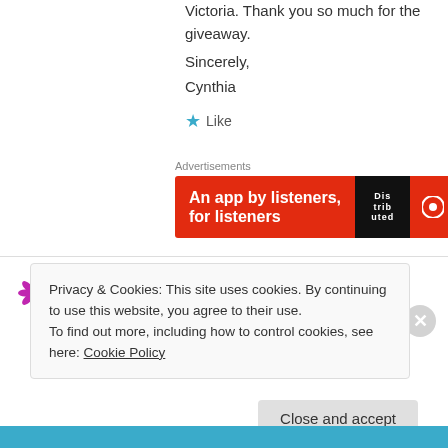Victoria. Thank you so much for the giveaway.
Sincerely,
Cynthia
★ Like
Advertisements
[Figure (other): Pocket Casts advertisement banner with red background, text 'An app by listeners, for listeners' and book image]
Cynthia Bayer Blain on November 3, 2013 at 1:46 PM
Privacy & Cookies: This site uses cookies. By continuing to use this website, you agree to their use.
To find out more, including how to control cookies, see here: Cookie Policy
Close and accept